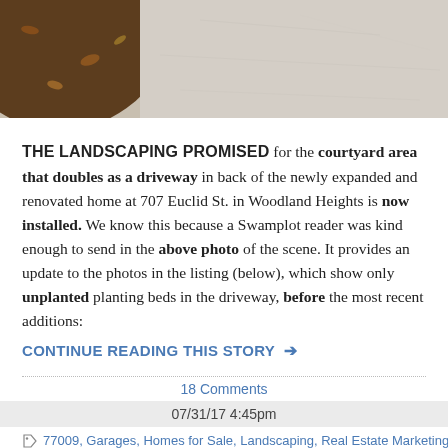[Figure (photo): Partial photo of a courtyard/driveway area showing a dark mulched planting bed on the left and a light-colored concrete driveway surface.]
THE LANDSCAPING PROMISED for the courtyard area that doubles as a driveway in back of the newly expanded and renovated home at 707 Euclid St. in Woodland Heights is now installed. We know this because a Swamplot reader was kind enough to send in the above photo of the scene. It provides an update to the photos in the listing (below), which show only unplanted planting beds in the driveway, before the most recent additions:
CONTINUE READING THIS STORY →
18 Comments
07/31/17 4:45pm
77009, Garages, Homes for Sale, Landscaping, Real Estate Marketing, Woodland